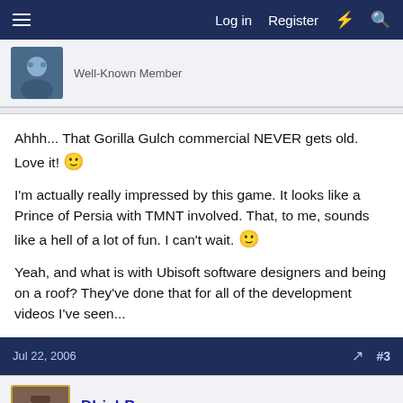Log in  Register
Well-Known Member
Ahhh... That Gorilla Gulch commercial NEVER gets old. Love it! 🙂

I'm actually really impressed by this game. It looks like a Prince of Persia with TMNT involved. That, to me, sounds like a hell of a lot of fun. I can't wait. 🙂

Yeah, and what is with Ubisoft software designers and being on a roof? They've done that for all of the development videos I've seen...
Jul 22, 2006  #3
DIrishB
The Timeline Guy